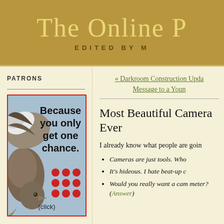The Online P
EDITED BY M
PATRONS
[Figure (photo): Advertisement with a bird photo and text 'Because you only get one chance.' with red dot grid and (click) label]
« Darkroom Construction Upda
Message to a Youn
Most Beautiful Camera Ever
I already know what people are goin
Cameras are just tools. Who
It's hideous. I hate beat-up c
Would you really want a cam meter? (Answer)